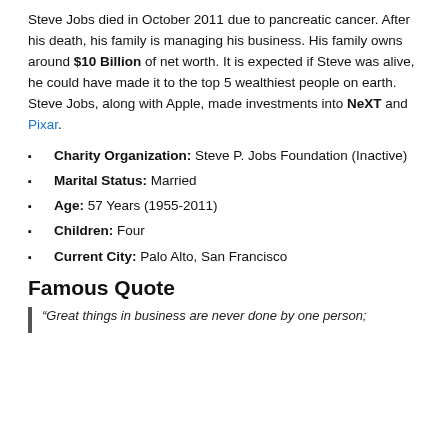Steve Jobs died in October 2011 due to pancreatic cancer. After his death, his family is managing his business. His family owns around $10 Billion of net worth. It is expected if Steve was alive, he could have made it to the top 5 wealthiest people on earth. Steve Jobs, along with Apple, made investments into NeXT and Pixar.
Charity Organization: Steve P. Jobs Foundation (Inactive)
Marital Status: Married
Age: 57 Years (1955-2011)
Children: Four
Current City: Palo Alto, San Francisco
Famous Quote
“Great things in business are never done by one person;